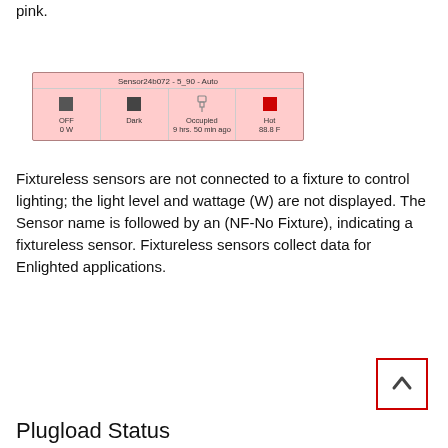pink.
[Figure (screenshot): Pink sensor status panel labeled 'Sensor24b072 - 5_90 - Auto' showing four cells: OFF/0W with dark square icon, Dark with dark square icon, Occupied/9 hrs. 50 min ago with lock icon, Hot/88.8 F with red square icon.]
Fixtureless sensors are not connected to a fixture to control lighting; the light level and wattage (W) are not displayed. The Sensor name is followed by an (NF-No Fixture), indicating a fixtureless sensor. Fixtureless sensors collect data for Enlighted applications.
[Figure (screenshot): Green sensor status panel showing four cells: dash/minus with half-dark half-yellow square icon, Bright with sun icon, Occupied/38 sec ago with triangle icon, Normal/73.14 F with blue-red square icon. Label at bottom: 'Sensor128009(NF) - Open Office  Custom - Auto'.]
[Figure (other): Back-to-top button with red border and upward chevron arrow.]
Plugload Status